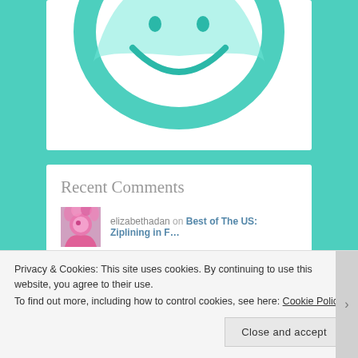[Figure (illustration): Partial teal/green circular emoji or smiley face illustration, cropped at top of page]
Recent Comments
elizabethadan on Best of The US: Ziplining in F…
Jennifer Smith on Best of The US: Ziplining in F…
elizabethadan on Best of The US: Ziplining in F…
Privacy & Cookies: This site uses cookies. By continuing to use this website, you agree to their use.
To find out more, including how to control cookies, see here: Cookie Policy
Close and accept